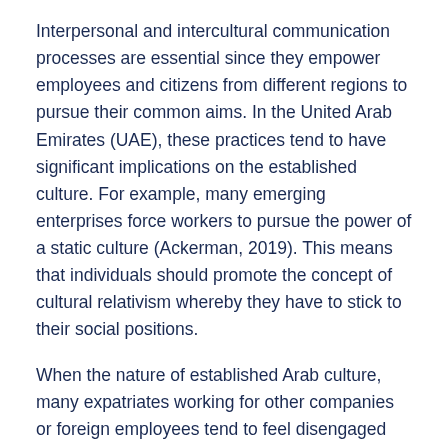Interpersonal and intercultural communication processes are essential since they empower employees and citizens from different regions to pursue their common aims. In the United Arab Emirates (UAE), these practices tend to have significant implications on the established culture. For example, many emerging enterprises force workers to pursue the power of a static culture (Ackerman, 2019). This means that individuals should promote the concept of cultural relativism whereby they have to stick to their social positions.
When the nature of established Arab culture, many expatriates working for other companies or foreign employees tend to feel disengaged due to the established static culture. Consequently, the level of intercultural communication is affected accordingly. Interpersonal communication is pursued using nonverbal and verbal cues. For example, gestures and body movements are critical and resonate with the attributes of the UAE and